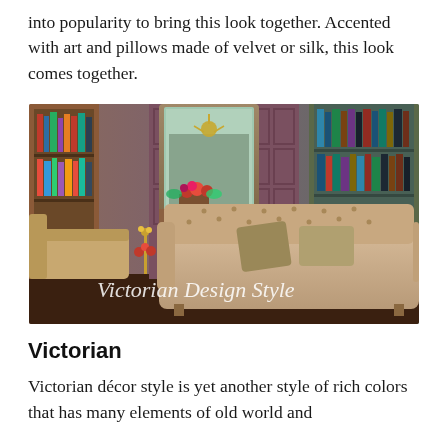into popularity to bring this look together. Accented with art and pillows made of velvet or silk, this look comes together.
[Figure (photo): Victorian interior design style room with ornate tufted velvet sofa, large mirror above a fireplace with red flower arrangement, bookshelves lined with books on either side, detailed wood paneling on walls, chandelier visible in mirror reflection. Watermark reads 'Victorian Design Style' in cursive script.]
Victorian
Victorian décor style is yet another style of rich colors that has many elements of old world and